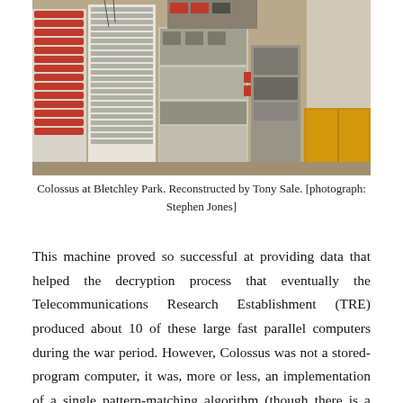[Figure (photo): Photograph of the Colossus computer reconstruction at Bletchley Park, showing large racks of electronic components, red cylindrical parts, white frames, and a yellow wooden box on the right side.]
Colossus at Bletchley Park. Reconstructed by Tony Sale. [photograph: Stephen Jones]
This machine proved so successful at providing data that helped the decryption process that eventually the Telecommunications Research Establishment (TRE) produced about 10 of these large fast parallel computers during the war period. However, Colossus was not a stored-program computer, it was, more or less, an implementation of a single pattern-matching algorithm (though there is a suggestion that Turing may have spent